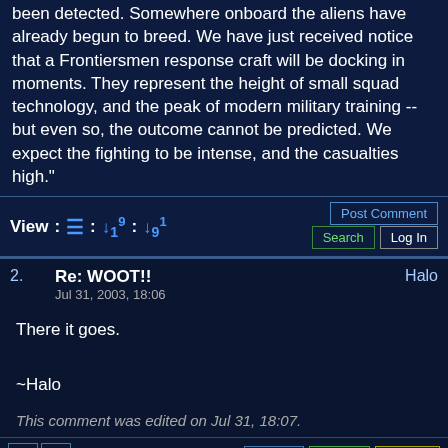been detected. Somewhere onboard the aliens have already begun to breed. We have just received notice that a Frontiersmen response craft will be docking in moments. They represent the height of small squad technology, and the peak of modern military training -- but even so, the outcome cannot be predicted. We expect the fighting to be intense, and the casualties high."
View : [list icon] : [sort 9/1] : [sort 1/9]
Post Comment
Search  Log In
2.  Re: WOOT!!  Halo
Jul 31, 2003, 18:06

There it goes.

~Halo

This comment was edited on Jul 31, 18:07.